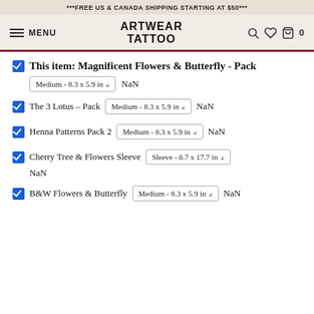***FREE US & CANADA SHIPPING STARTING AT $50***
ARTWEAR TATTOO  MENU  0
☑ This item: Magnificent Flowers & Butterfly - Pack  Medium - 8.3 x 5.9 in  NaN
☑ The 3 Lotus – Pack  Medium - 8.3 x 5.9 in  NaN
☑ Henna Patterns Pack 2  Medium - 8.3 x 5.9 in  NaN
☑ Cherry Tree & Flowers Sleeve  Sleeve - 6.7 x 17.7 in  NaN
☑ B&W Flowers & Butterfly  Medium - 8.3 x 5.9 in  NaN